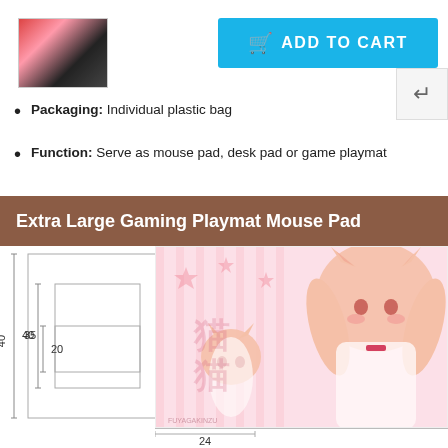[Figure (photo): Small thumbnail image of anime gaming mouse pad product]
[Figure (screenshot): Light blue Add to Cart button with shopping bag icon]
Packaging: Individual plastic bag
Function: Serve as mouse pad, desk pad or game playmat
Extra Large Gaming Playmat Mouse Pad
[Figure (photo): Dimension diagram showing sizes 40, 35, 20 and anime character illustration of pink-haired cat girl mouse pad]
24